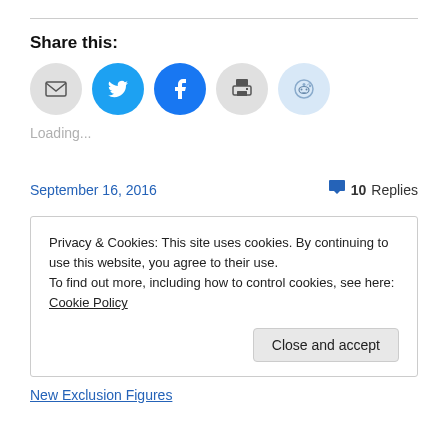Share this:
[Figure (infographic): Row of five circular social sharing icons: email (gray), Twitter (blue), Facebook (blue), Print (gray), Reddit (light blue)]
Loading...
September 16, 2016    💬 10 Replies
Privacy & Cookies: This site uses cookies. By continuing to use this website, you agree to their use.
To find out more, including how to control cookies, see here: Cookie Policy
[Close and accept]
New Exclusion Figures